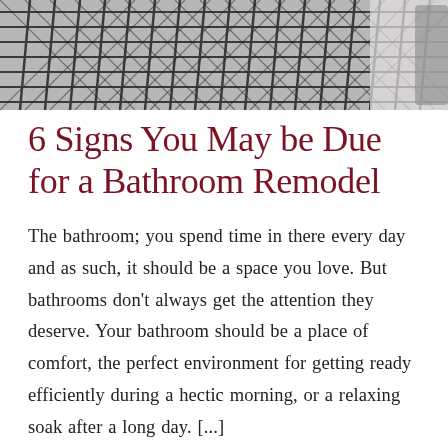[Figure (photo): Black and white photo of a wicker/wire basket or chair, partially cropped at top of page]
6 Signs You May be Due for a Bathroom Remodel
The bathroom; you spend time in there every day and as such, it should be a space you love. But bathrooms don't always get the attention they deserve. Your bathroom should be a place of comfort, the perfect environment for getting ready efficiently during a hectic morning, or a relaxing soak after a long day. [...]